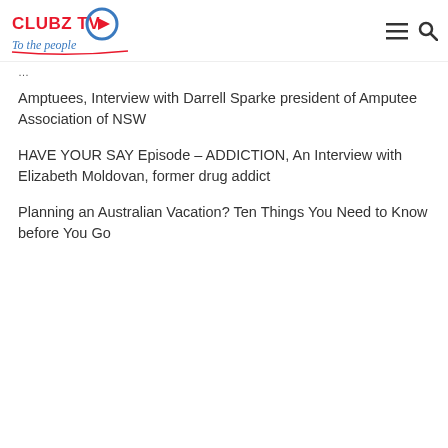CLUBZ TV - To the people
Amptuees, Interview with Darrell Sparke president of Amputee Association of NSW
HAVE YOUR SAY Episode – ADDICTION, An Interview with Elizabeth Moldovan, former drug addict
Planning an Australian Vacation? Ten Things You Need to Know before You Go